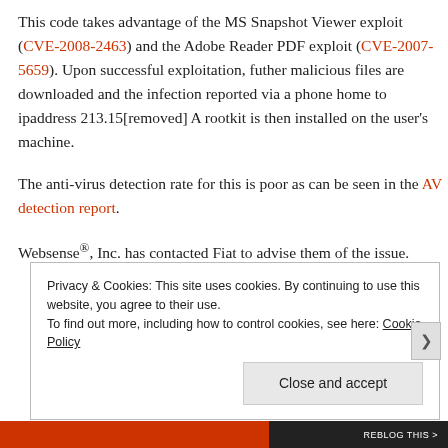This code takes advantage of the MS Snapshot Viewer exploit (CVE-2008-2463) and the Adobe Reader PDF exploit (CVE-2007-5659). Upon successful exploitation, futher malicious files are downloaded and the infection reported via a phone home to ipaddress 213.15[removed] A rootkit is then installed on the user's machine.
The anti-virus detection rate for this is poor as can be seen in the AV detection report.
Websense®, Inc. has contacted Fiat to advise them of the issue.
Privacy & Cookies: This site uses cookies. By continuing to use this website, you agree to their use. To find out more, including how to control cookies, see here: Cookie Policy